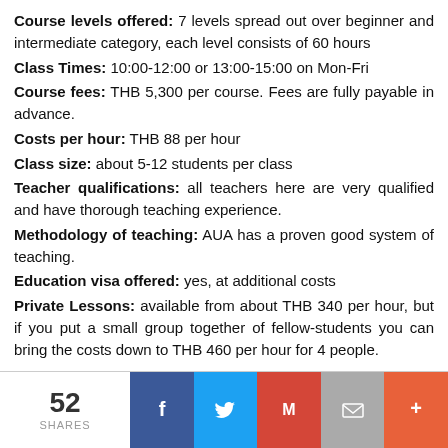Course levels offered: 7 levels spread out over beginner and intermediate category, each level consists of 60 hours
Class Times: 10:00-12:00 or 13:00-15:00 on Mon-Fri
Course fees: THB 5,300 per course. Fees are fully payable in advance.
Costs per hour: THB 88 per hour
Class size: about 5-12 students per class
Teacher qualifications: all teachers here are very qualified and have thorough teaching experience.
Methodology of teaching: AUA has a proven good system of teaching.
Education visa offered: yes, at additional costs
Private Lessons: available from about THB 340 per hour, but if you put a small group together of fellow-students you can bring the costs down to THB 460 per hour for 4 people.
52 SHARES | Facebook | Twitter | Gmail | Email | Plus